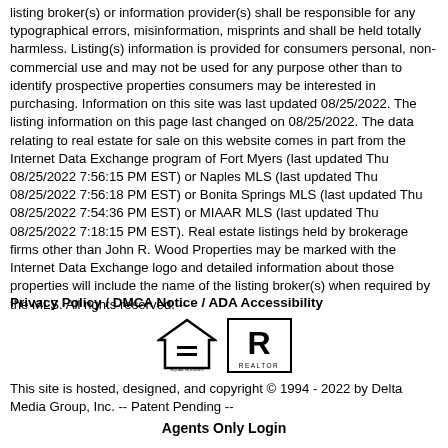listing broker(s) or information provider(s) shall be responsible for any typographical errors, misinformation, misprints and shall be held totally harmless. Listing(s) information is provided for consumers personal, non-commercial use and may not be used for any purpose other than to identify prospective properties consumers may be interested in purchasing. Information on this site was last updated 08/25/2022. The listing information on this page last changed on 08/25/2022. The data relating to real estate for sale on this website comes in part from the Internet Data Exchange program of Fort Myers (last updated Thu 08/25/2022 7:56:15 PM EST) or Naples MLS (last updated Thu 08/25/2022 7:56:18 PM EST) or Bonita Springs MLS (last updated Thu 08/25/2022 7:54:36 PM EST) or MIAAR MLS (last updated Thu 08/25/2022 7:18:15 PM EST). Real estate listings held by brokerage firms other than John R. Wood Properties may be marked with the Internet Data Exchange logo and detailed information about those properties will include the name of the listing broker(s) when required by the MLS. All rights reserved. --
Privacy Policy / DMCA Notice / ADA Accessibility
[Figure (logo): Equal Housing Opportunity logo and REALTOR logo side by side]
This site is hosted, designed, and copyright © 1994 - 2022 by Delta Media Group, Inc. -- Patent Pending --
Agents Only Login